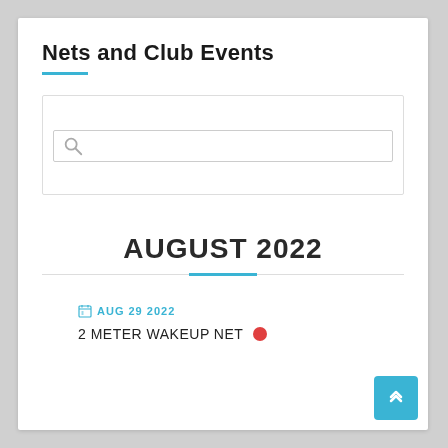Nets and Club Events
[Figure (screenshot): Search box with magnifying glass icon and text input field]
AUGUST 2022
AUG 29 2022
2 METER WAKEUP NET